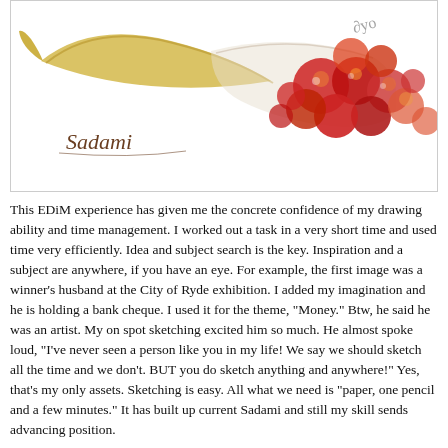[Figure (illustration): Watercolor painting of a banana and a cluster of red and orange cherries/berries spilling from a bag, with an artistic signature 'Sadami' in the lower left, and partial handwritten text in upper right corner.]
This EDiM experience has given me the concrete confidence of my drawing ability and time management. I worked out a task in a very short time and used time very efficiently. Idea and subject search is the key. Inspiration and a subject are anywhere, if you have an eye. For example, the first image was a winner's husband at the City of Ryde exhibition. I added my imagination and he is holding a bank cheque. I used it for the theme, "Money." Btw, he said he was an artist. My on spot sketching excited him so much. He almost spoke loud, "I've never seen a person like you in my life! We say we should sketch all the time and we don't. BUT you do sketch anything and anywhere!" Yes, that's my only assets. Sketching is easy. All what we need is "paper, one pencil and a few minutes." It has built up current Sadami and still my skill sends advancing position.